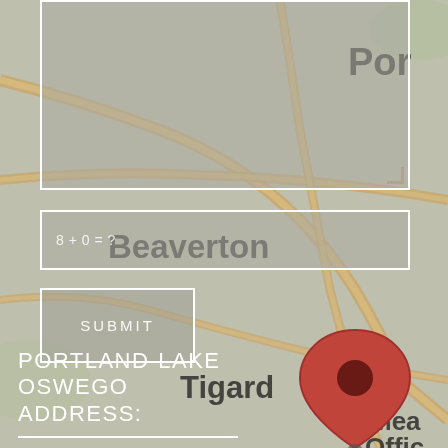[Figure (map): Google Maps screenshot showing Portland area with Beaverton, Tigard labels and a red location pin near Meadows Office area. Map overlaid with a web form containing a textarea, a CAPTCHA input field (8+0=?), and a Submit button.]
8 + 0 = ?
SUBMIT
PORTLAND-LAKE OSWEGO ADDRESS: